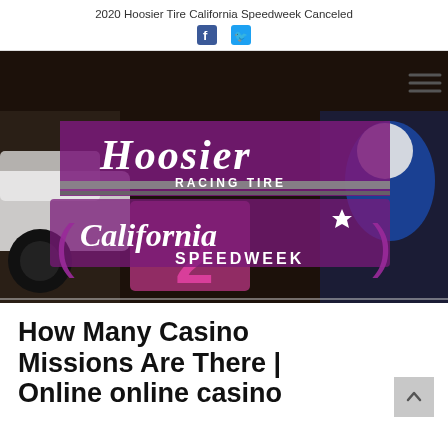2020 Hoosier Tire California Speedweek Canceled
[Figure (photo): Hoosier Racing Tire California Speedweek promotional banner photo showing a race car driver in a blue suit waving, with a sprint car, and the California Speedweek 2 logo overlay in pink/purple]
How Many Casino Missions Are There | Online online casino